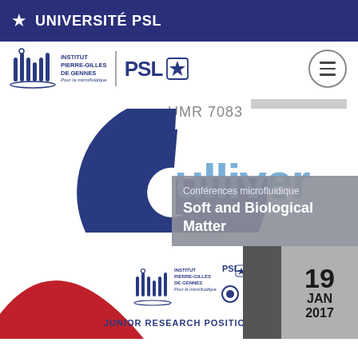UNIVERSITÉ PSL
[Figure (logo): Institut Pierre-Gilles de Gennes PSL logo with vertical bars icon and hamburger menu button]
[Figure (logo): Gulliver UMR 7083 laboratory logo with stylized G in dark blue and light blue text]
Conférences microfluidique
Soft and Biological Matter
[Figure (photo): Institut Pierre-Gilles de Gennes PSL conference poster for Junior Research Positions Call with a red arc design, date 19 JAN 2017]